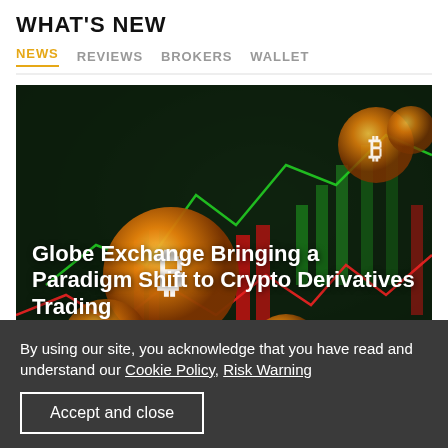WHAT'S NEW
NEWS   REVIEWS   BROKERS   WALLET
[Figure (photo): Cryptocurrency trading image with Bitcoin coins and red/green candlestick charts on dark background, with article title overlay: 'Globe Exchange Bringing a Paradigm Shift to Crypto Derivatives Trading' and metadata '3 minutes ago | Crypto news']
By using our site, you acknowledge that you have read and understand our Cookie Policy, Risk Warning
Accept and close